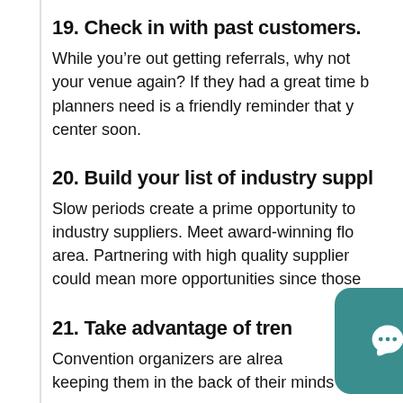19. Check in with past customers.
While you’re out getting referrals, why not reconnect with past customers who booked your venue again? If they had a great time before, all event planners need is a friendly reminder that you’re available at your conference center soon.
20. Build your list of industry suppliers.
Slow periods create a prime opportunity to strengthen relationships with industry suppliers. Meet award-winning florists and photographers in your area. Partnering with high quality suppliers that share your clientele could mean more opportunities since those
21. Take advantage of trends.
Convention organizers are already thinking about in keeping them in the back of their minds wh